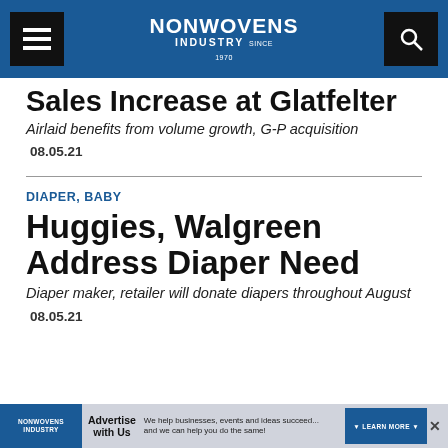NONWOVENS INDUSTRY
Sales Increase at Glatfelter
Airlaid benefits from volume growth, G-P acquisition
08.05.21
DIAPER, BABY
Huggies, Walgreen Address Diaper Need
Diaper maker, retailer will donate diapers throughout August
08.05.21
[Figure (other): Advertisement banner for Nonwovens Industry: Advertise with Us — We help businesses, events and ideas succeed... and we can help you do the same!]